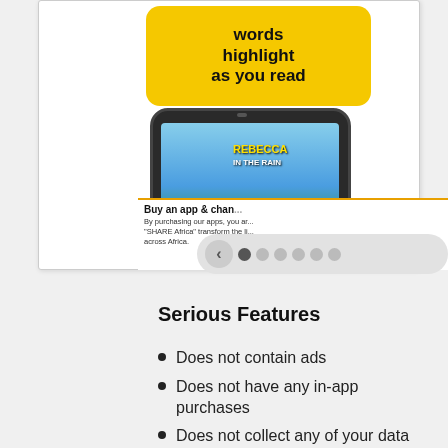[Figure (screenshot): App store screenshot showing an educational reading app called 'Rebecca in the Rain' with a blue background, yellow banner saying 'words highlight as you read', a phone showing the app, navigation dots at the bottom, and a 'Buy an app & change lives' banner.]
Serious Features
Does not contain ads
Does not have any in-app purchases
Does not collect any of your data
Does not link to any social media sites